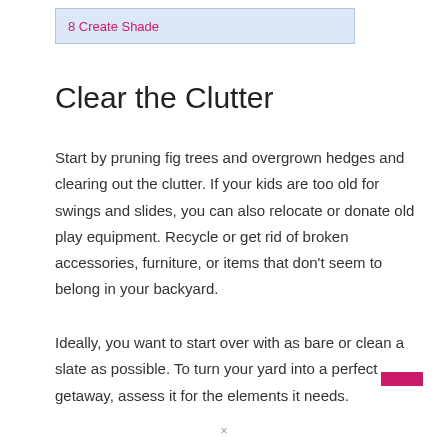8 Create Shade
Clear the Clutter
Start by pruning fig trees and overgrown hedges and clearing out the clutter. If your kids are too old for swings and slides, you can also relocate or donate old play equipment. Recycle or get rid of broken accessories, furniture, or items that don't seem to belong in your backyard.
Ideally, you want to start over with as bare or clean a slate as possible. To turn your yard into a perfect getaway, assess it for the elements it needs.